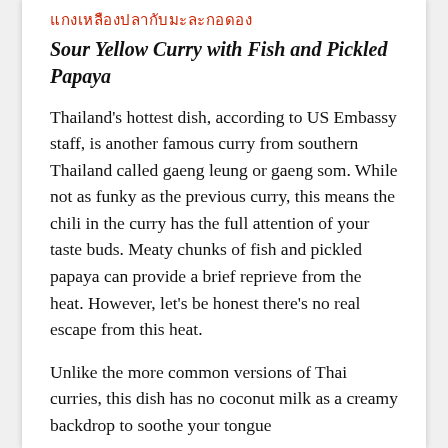แกงเหลืองปลากับมะละกอดอง
Sour Yellow Curry with Fish and Pickled Papaya
Thailand's hottest dish, according to US Embassy staff, is another famous curry from southern Thailand called gaeng leung or gaeng som. While not as funky as the previous curry, this means the chili in the curry has the full attention of your taste buds. Meaty chunks of fish and pickled papaya can provide a brief reprieve from the heat. However, let's be honest there's no real escape from this heat.
Unlike the more common versions of Thai curries, this dish has no coconut milk as a creamy backdrop to soothe your tongue